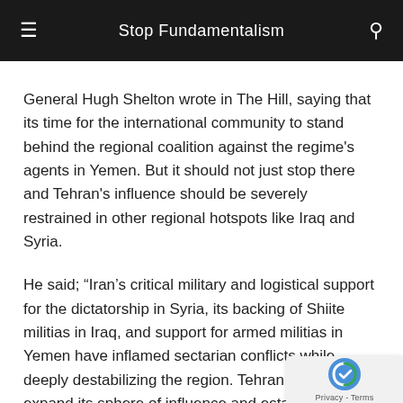Stop Fundamentalism
General Hugh Shelton wrote in The Hill, saying that its time for the international community to stand behind the regional coalition against the regime's agents in Yemen. But it should not just stop there and Tehran's influence should be severely restrained in other regional hotspots like Iraq and Syria.
He said; “Iran’s critical military and logistical support for the dictatorship in Syria, its backing of Shiite militias in Iraq, and support for armed militias in Yemen have inflamed sectarian conflicts while deeply destabilizing the region. Tehran wants to expand its sphere of influence and establish a fundamentalist block to stand against progressive for